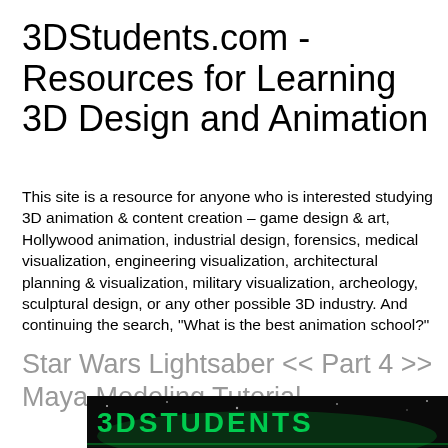3DStudents.com - Resources for Learning 3D Design and Animation
This site is a resource for anyone who is interested studying 3D animation & content creation – game design & art, Hollywood animation, industrial design, forensics, medical visualization, engineering visualization, architectural planning & visualization, military visualization, archeology, sculptural design, or any other possible 3D industry. And continuing the search, "What is the best animation school?"
Star Wars Lightsaber << Part 4 >> Maya Modeling Tutorial
[Figure (screenshot): Bottom strip showing a dark banner with stylized 3DSTUDENTS text in green/teal color with a space/neon theme]